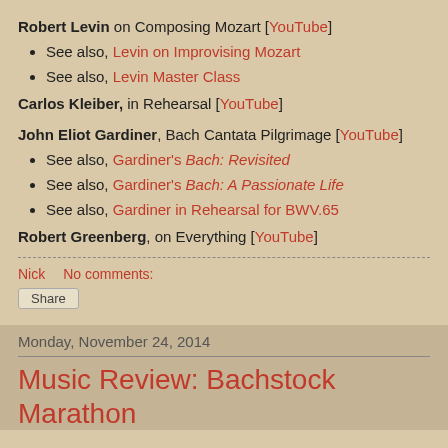Robert Levin on Composing Mozart [YouTube]
See also, Levin on Improvising Mozart
See also, Levin Master Class
Carlos Kleiber, in Rehearsal [YouTube]
John Eliot Gardiner, Bach Cantata Pilgrimage [YouTube]
See also, Gardiner's Bach: Revisited
See also, Gardiner's Bach: A Passionate Life
See also, Gardiner in Rehearsal for BWV.65
Robert Greenberg, on Everything [YouTube]
Nick    No comments:
Share
Monday, November 24, 2014
Music Review: Bachstock Marathon